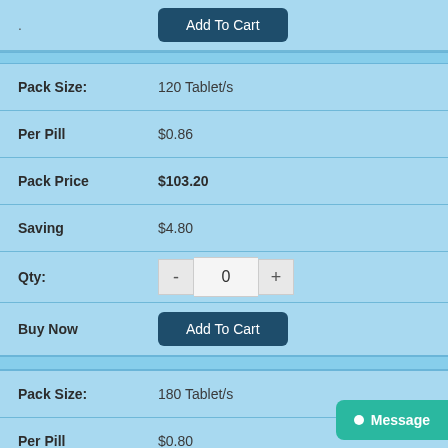| Field | Value |
| --- | --- |
| . | Add To Cart |
| Pack Size: | 120 Tablet/s |
| Per Pill | $0.86 |
| Pack Price | $103.20 |
| Saving | $4.80 |
| Qty: | 0 |
| Buy Now | Add To Cart |
| Pack Size: | 180 Tablet/s |
| Per Pill | $0.80 |
| Pack Price | $144.00 |
| Saving | $10.80 |
| Qty: | 0 |